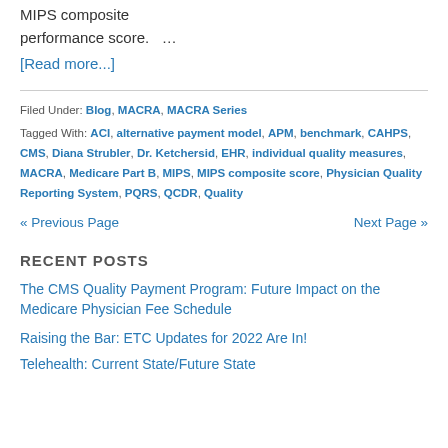MIPS composite performance score. …
[Read more...]
Filed Under: Blog, MACRA, MACRA Series
Tagged With: ACI, alternative payment model, APM, benchmark, CAHPS, CMS, Diana Strubler, Dr. Ketchersid, EHR, individual quality measures, MACRA, Medicare Part B, MIPS, MIPS composite score, Physician Quality Reporting System, PQRS, QCDR, Quality
« Previous Page   Next Page »
RECENT POSTS
The CMS Quality Payment Program: Future Impact on the Medicare Physician Fee Schedule
Raising the Bar: ETC Updates for 2022 Are In!
Telehealth: Current State/Future State